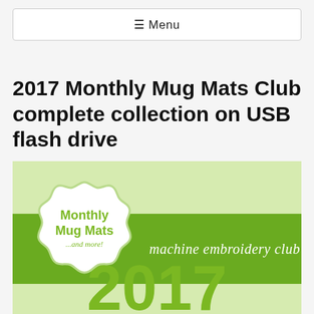☰ Menu
2017 Monthly Mug Mats Club complete collection on USB flash drive
[Figure (illustration): Monthly Mug Mats machine embroidery club logo on a light green background, featuring a decorative badge with text 'Monthly Mug Mats ...and more!' in green on a white badge shape, a green horizontal band with 'machine embroidery club' in white italic script, and large green '2017' numerals at the bottom.]